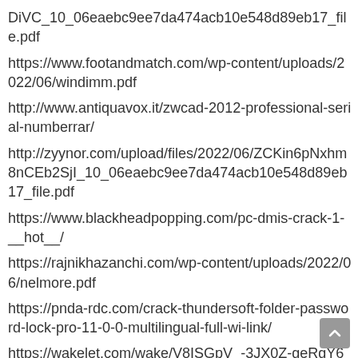DiVC_10_06eaebc9ee7da474acb10e548d89eb17_file.pdf
https://www.footandmatch.com/wp-content/uploads/2022/06/windimm.pdf
http://www.antiquavox.it/zwcad-2012-professional-serial-numberrar/
http://zyynor.com/upload/files/2022/06/ZCKin6pNxhm8nCEb2SjI_10_06eaebc9ee7da474acb10e548d89eb17_file.pdf
https://www.blackheadpopping.com/pc-dmis-crack-1-__hot__/
https://rajnikhazanchi.com/wp-content/uploads/2022/06/nelmore.pdf
https://pnda-rdc.com/crack-thundersoft-folder-password-lock-pro-11-0-0-multilingual-full-wi-link/
https://wakelet.com/wake/V8ISGpV_-3JX0Z-geRgY6
https://zipozap.com/wp-content/uploads/2022/06/Xforce__Crack__Xilence.pdf
https://www.footandmatch.com/wp-